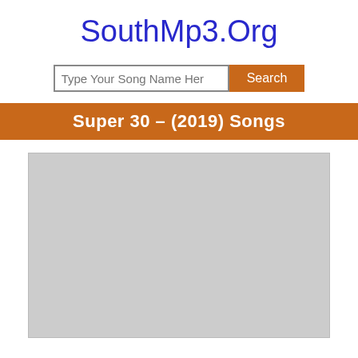SouthMp3.Org
Type Your Song Name Here [search input] Search [button]
Super 30 – (2019) Songs
[Figure (photo): Gray placeholder image block below the section header]